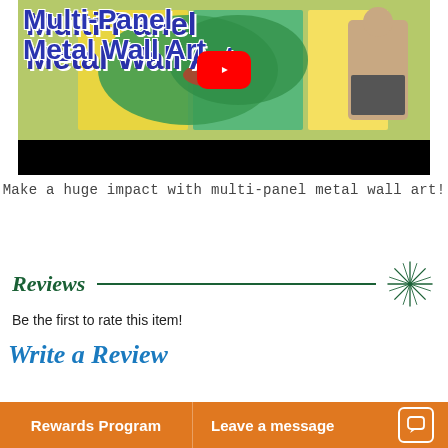[Figure (screenshot): YouTube video thumbnail showing multi-panel metal wall art with a person holding large colorful panels. Title text 'Multi-Panel Metal Wall Art' in blue, YouTube play button visible.]
Make a huge impact with multi-panel metal wall art!
Reviews
Be the first to rate this item!
Write a Review
Rewards Program
Leave a message